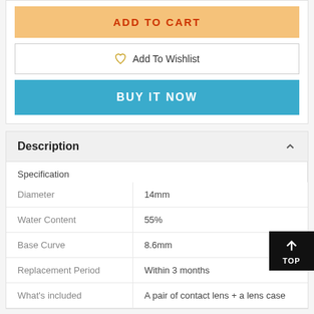ADD TO CART
Add To Wishlist
BUY IT NOW
Description
|  |  |
| --- | --- |
| Specification |  |
| Diameter | 14mm |
| Water Content | 55% |
| Base Curve | 8.6mm |
| Replacement Period | Within 3 months |
| What's included | A pair of contact lens + a lens case |